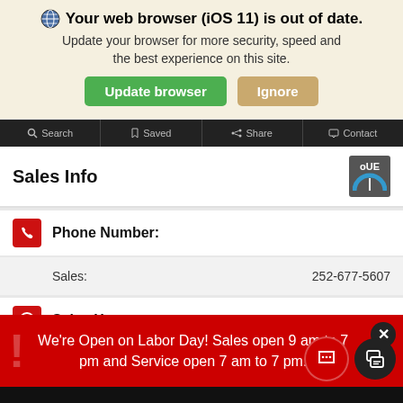Your web browser (iOS 11) is out of date. Update your browser for more security, speed and the best experience on this site.
[Figure (screenshot): Browser update warning banner with green 'Update browser' button and tan 'Ignore' button]
[Figure (screenshot): Mobile website navigation bar with Search, Saved, Share, Contact tabs]
Sales Info
Phone Number:
Sales: 252-677-5607
Sales Hours:
Mon – Fri   9:00 AM – 7:00 PM
Sat   9:00 AM – 5:00 PM
We're Open on Labor Day! Sales open 9 am to 7 pm and Service open 7 am to 7 pm.